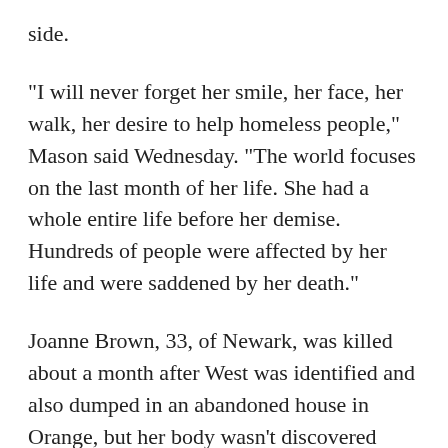side.
"I will never forget her smile, her face, her walk, her desire to help homeless people," Mason said Wednesday. "The world focuses on the last month of her life. She had a whole entire life before her demise. Hundreds of people were affected by her life and were saddened by her death."
Joanne Brown, 33, of Newark, was killed about a month after West was identified and also dumped in an abandoned house in Orange, but her body wasn't discovered until six weeks later. Butler disappeared around Thanksgiving 2016, about a month after Brown was killed, and her remains were discovered in a wooded area four days before Brown's body was discovered. Both women had been strangled with